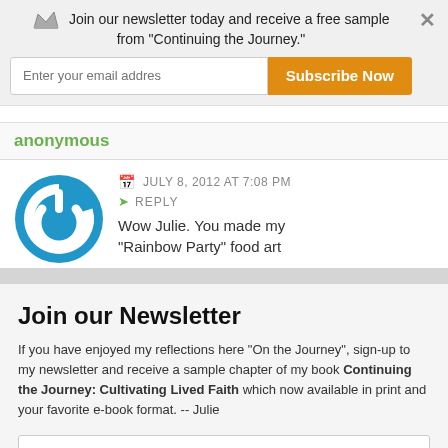Join our newsletter today and receive a free sample from "Continuing the Journey."
Enter your email addres
Subscribe Now
anonymous
JULY 8, 2012 AT 7:08 PM
REPLY
Wow Julie. You made my
"Rainbow Party" food art
POWERED BY SUMO
Join our Newsletter
If you have enjoyed my reflections here "On the Journey", sign-up to my newsletter and receive a sample chapter of my book Continuing the Journey: Cultivating Lived Faith which now available in print and your favorite e-book format. -- Julie
Enter your Email
Send Now